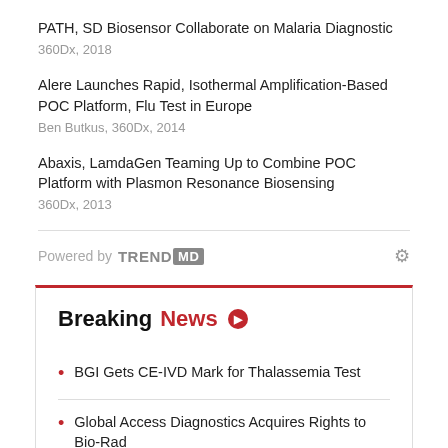PATH, SD Biosensor Collaborate on Malaria Diagnostic
360Dx, 2018
Alere Launches Rapid, Isothermal Amplification-Based POC Platform, Flu Test in Europe
Ben Butkus, 360Dx, 2014
Abaxis, LamdaGen Teaming Up to Combine POC Platform with Plasmon Resonance Biosensing
360Dx, 2013
Powered by TRENDMD
Breaking News
BGI Gets CE-IVD Mark for Thalassemia Test
Global Access Diagnostics Acquires Rights to Bio-Rad